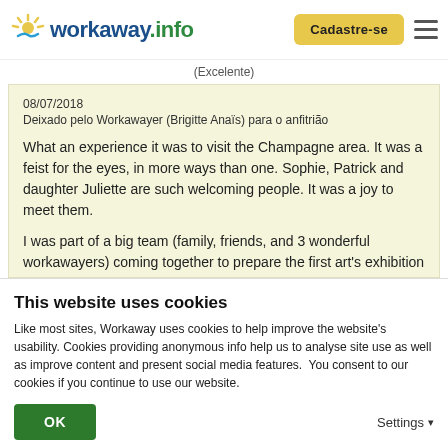workaway.info | Cadastre-se
(Excelente)
08/07/2018
Deixado pelo Workawayer (Brigitte Anaïs) para o anfitrião
What an experience it was to visit the Champagne area. It was a feist for the eyes, in more ways than one. Sophie, Patrick and daughter Juliette are such welcoming people. It was a joy to meet them.

I was part of a big team (family, friends, and 3 wonderful workawayers) coming together to prepare the first art's exhibition held at this place. I... read more
This website uses cookies
Like most sites, Workaway uses cookies to help improve the website's usability. Cookies providing anonymous info help us to analyse site use as well as improve content and present social media features.  You consent to our cookies if you continue to use our website.
OK
Settings